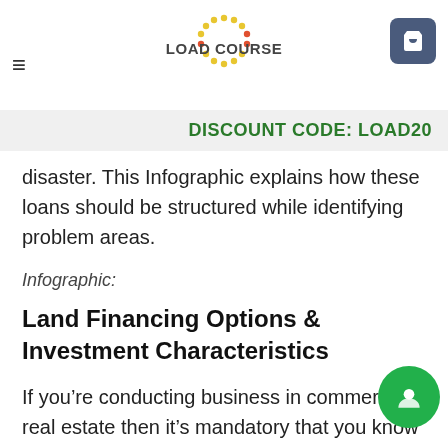LOAD COURSE
DISCOUNT CODE: LOAD20
disaster. This Infographic explains how these loans should be structured while identifying problem areas.
Infographic:
Land Financing Options & Investment Characteristics
If you’re conducting business in commercial real estate then it’s mandatory that you know the fundamentals of every land financing option. This Infographic reveals every option you need to know and discusses the benefits of each. Our creative